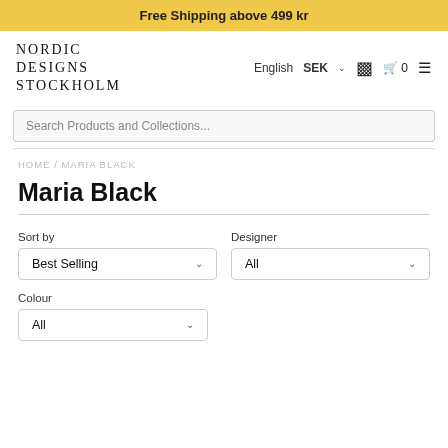Free Shipping above 499 kr
[Figure (logo): Nordic Designs Stockholm logo with nav: English, SEK dropdown, person icon, cart icon (0), hamburger menu]
Search Products and Collections...
HOME / MARIA BLACK
Maria Black
Sort by
Best Selling
Designer
All
Colour
All